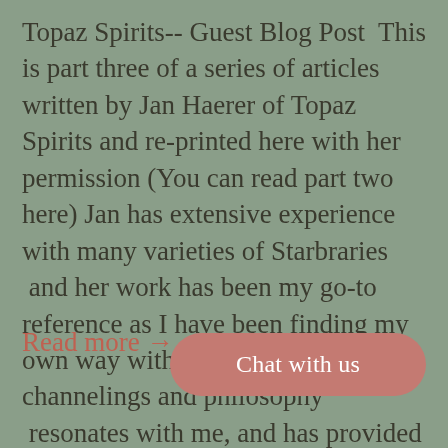Topaz Spirits-- Guest Blog Post  This is part three of a series of articles written by Jan Haerer of Topaz Spirits and re-printed here with her permission (You can read part two here) Jan has extensive experience with many varieties of Starbraries  and her work has been my go-to reference as I have been finding my own way with these crystals. Her channelings and philosophy  resonates with me, and has provided me with a great springboard for further exploration.  Her articles are in depth and so I am dividing them into segments and I will publish them as a series with identifying tags to make...
Read more →
Chat with us